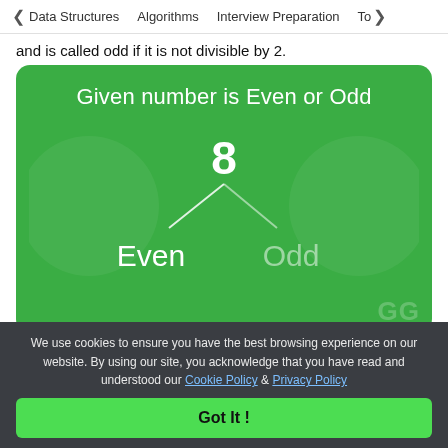< Data Structures   Algorithms   Interview Preparation   To>
and is called odd if it is not divisible by 2.
[Figure (infographic): Green card showing 'Given number is Even or Odd' with a diagram of the number 8 branching into Even and Odd labels, where Even is highlighted white and Odd is dimmed.]
We use cookies to ensure you have the best browsing experience on our website. By using our site, you acknowledge that you have read and understood our Cookie Policy & Privacy Policy
Got It !